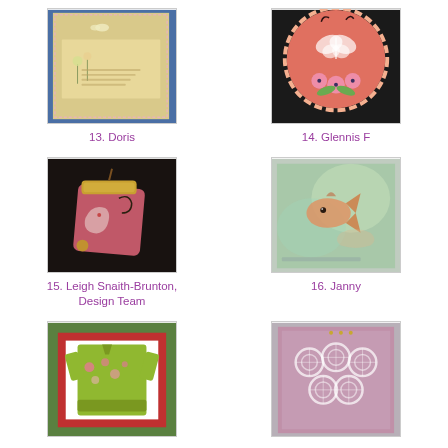[Figure (photo): Handmade card with butterflies and flowers on aged/distressed yellow-cream background with blue border]
13. Doris
[Figure (photo): Scallop-edged pink/peach card with white butterfly embossing and pink paper flowers]
14. Glennis F
[Figure (photo): Pink pendant jewelry piece with gold filigree and elephant design on dark background]
15. Leigh Snaith-Brunton, Design Team
[Figure (photo): Watercolor-style card with orange/red fish on green-blue background]
16. Janny
[Figure (photo): Green-framed card with red mat showing a green Hawaiian shirt with floral design]
[Figure (photo): Purple/mauve card with white embossed flower/circle pattern]